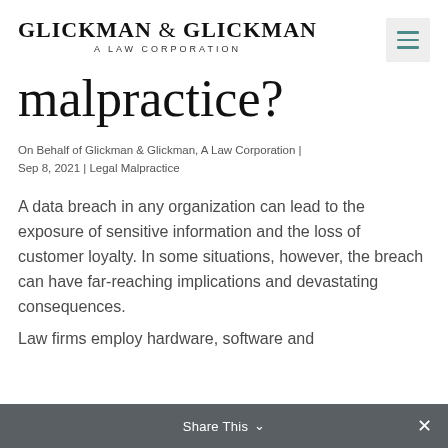GLICKMAN & GLICKMAN A LAW CORPORATION
malpractice?
On Behalf of Glickman & Glickman, A Law Corporation | Sep 8, 2021 | Legal Malpractice
A data breach in any organization can lead to the exposure of sensitive information and the loss of customer loyalty. In some situations, however, the breach can have far-reaching implications and devastating consequences.
Law firms employ hardware, software and
Share This